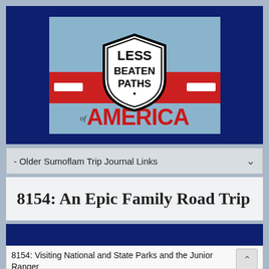[Figure (logo): Less Beaten Paths of America logo: light blue background with a red road stripe and dashed white lines, a black shield badge with 'LESS BEATEN PATHS' text, and 'of AMERICA' in red below.]
- Older Sumoflam Trip Journal Links
8154: An Epic Family Road Trip
8154: Visiting National and State Parks and the Junior Ranger Programs